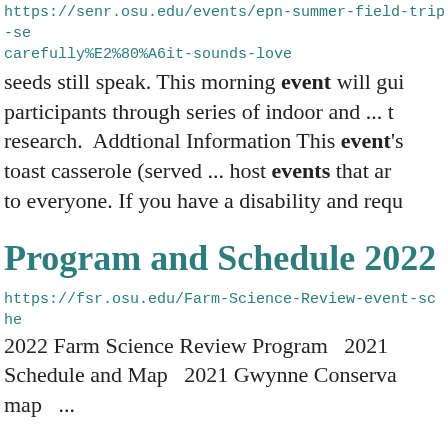https://senr.osu.edu/events/epn-summer-field-trip-se carefully%E2%80%A6it-sounds-love
seeds still speak. This morning event will gui participants through series of indoor and ... t research.  Addtional Information This event's toast casserole (served ... host events that ar to everyone. If you have a disability and requ
Program and Schedule 2022
https://fsr.osu.edu/Farm-Science-Review-event-sche
2022 Farm Science Review Program   2021 Schedule and Map   2021 Gwynne Conserva map   ...
Lots to see, learn at Gwynne Conser